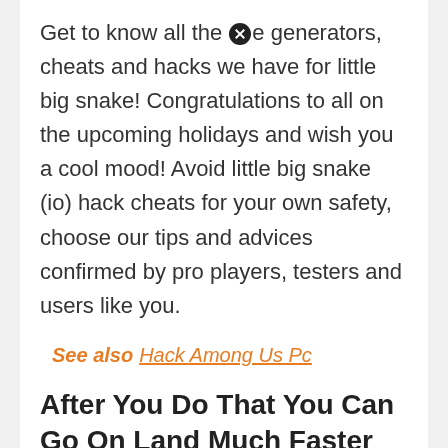Get to know all the free generators, cheats and hacks we have for little big snake! Congratulations to all on the upcoming holidays and wish you a cool mood! Avoid little big snake (io) hack cheats for your own safety, choose our tips and advices confirmed by pro players, testers and users like you.
See also  Hack Among Us Pc
After You Do That You Can Go On Land Much Faster Than At Regular Speed.
Download little big snake hack download on this site. It seems like one thing unreal but...